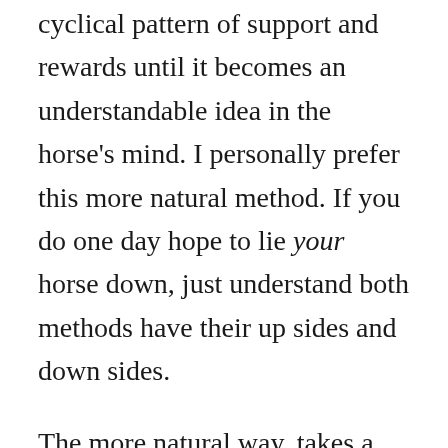cyclical pattern of support and rewards until it becomes an understandable idea in the horse's mind. I personally prefer this more natural method. If you do one day hope to lie your horse down, just understand both methods have their up sides and down sides.
The more natural way, takes a long time and requires a lot of patience. It also makes it hard to lie down absolutely anywhere, in response to a signal. The horse gets used to lying down in a safe place but takes even more time to learn the activity in a new